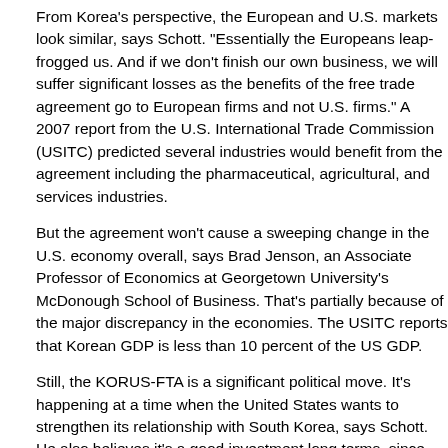From Korea's perspective, the European and U.S. markets look similar, says Schott. "Essentially the Europeans leap-frogged us. And if we don't finish our own business, we will suffer significant losses as the benefits of the free trade agreement go to European firms and not U.S. firms." A 2007 report from the U.S. International Trade Commission (USITC) predicted several industries would benefit from the agreement including the pharmaceutical, agricultural, and services industries.
But the agreement won't cause a sweeping change in the U.S. economy overall, says Brad Jenson, an Associate Professor of Economics at Georgetown University's McDonough School of Business. That's partially because of the major discrepancy in the economies. The USITC reports that Korean GDP is less than 10 percent of the US GDP.
Still, the KORUS-FTA is a significant political move. It's happening at a time when the United States wants to strengthen its relationship with South Korea, says Schott. He also believes it's a good investment long terms, since the South Korean market should develop.
"This is good for the US overall, and good for particular sectors," says Jenson. "It seems likely that it's going to happen."
The U.S. Chamber of Commerce...